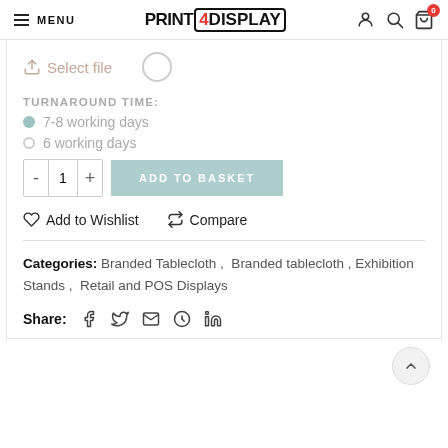MENU | PRINT 4DISPLAY | [user] [search] [cart 0]
Select file
TURNAROUND TIME:
7-8 working days
6 working days
- 1 + ADD TO BASKET
Add to Wishlist  Compare
Categories: Branded Tablecloth, Branded tablecloth, Exhibition Stands, Retail and POS Displays
Share: